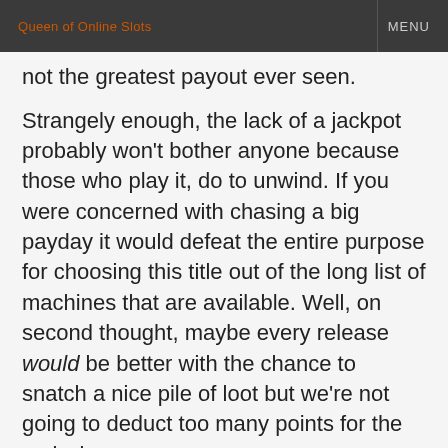Queen of Online Slots   MENU
not the greatest payout ever seen.
Strangely enough, the lack of a jackpot probably won't bother anyone because those who play it, do to unwind. If you were concerned with chasing a big payday it would defeat the entire purpose for choosing this title out of the long list of machines that are available. Well, on second thought, maybe every release would be better with the chance to snatch a nice pile of loot but we're not going to deduct too many points for the omission.
Bonus Rounds